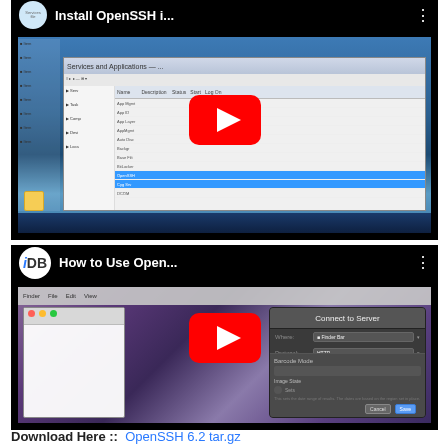[Figure (screenshot): YouTube video thumbnail showing 'Install OpenSSH i...' with a Windows 7 desktop and file manager visible, with a red YouTube play button overlay]
[Figure (screenshot): YouTube video thumbnail showing 'How to Use Open...' with iDB logo, Mac OS X desktop with a dark settings dialog visible, with a red YouTube play button overlay]
Download Here ::  OpenSSH 6.2 tar.gz